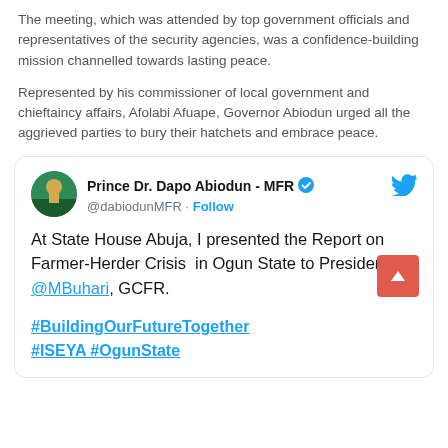The meeting, which was attended by top government officials and representatives of the security agencies, was a confidence-building mission channelled towards lasting peace.
Represented by his commissioner of local government and chieftaincy affairs, Afolabi Afuape, Governor Abiodun urged all the aggrieved parties to bury their hatchets and embrace peace.
[Figure (screenshot): Embedded tweet from @dabiodunMFR (Prince Dr. Dapo Abiodun - MFR) with verified badge and Twitter bird logo. Tweet text: 'At State House Abuja, I presented the Report on Farmer-Herder Crisis in Ogun State to President @MBuhari, GCFR. #BuildingOurFutureTogether #ISEYA #OgunState']